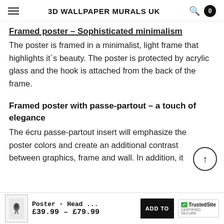3D WALLPAPER MURALS UK
Framed poster – Sophisticated minimalism
The poster is framed in a minimalist, light frame that highlights it`s beauty. The poster is protected by acrylic glass and the hook is attached from the back of the frame.
Framed poster with passe-partout – a touch of elegance
The écru passe-partout insert will emphasize the poster colors and create an additional contrast between graphics, frame and wall. In addition, it
Poster - Head ... £39.99 – £79.99 | ADD TO | TrustedSite CERTIFIED SECURE